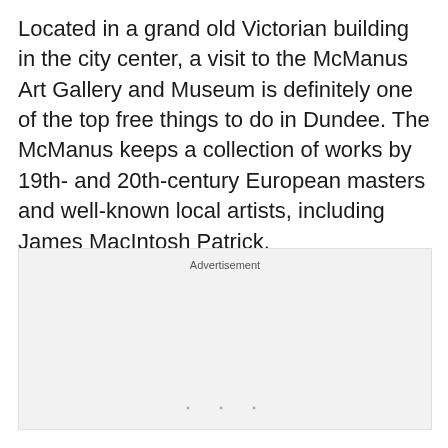Located in a grand old Victorian building in the city center, a visit to the McManus Art Gallery and Museum is definitely one of the top free things to do in Dundee. The McManus keeps a collection of works by 19th- and 20th-century European masters and well-known local artists, including James MacIntosh Patrick.
[Figure (other): Advertisement placeholder box with 'Advertisement' label at top and three dots at the bottom center]